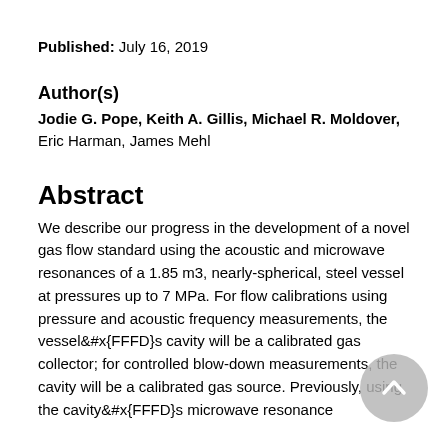Published:  July 16, 2019
Author(s)
Jodie G. Pope, Keith A. Gillis, Michael R. Moldover, Eric Harman, James Mehl
Abstract
We describe our progress in the development of a novel gas flow standard using the acoustic and microwave resonances of a 1.85 m3, nearly-spherical, steel vessel at pressures up to 7 MPa. For flow calibrations using pressure and acoustic frequency measurements, the vessel's cavity will be a calibrated gas collector; for controlled blow-down measurements, the cavity will be a calibrated gas source. Previously, using the cavity's microwave resonance frequencies, we determined the cavity's volume and shape.